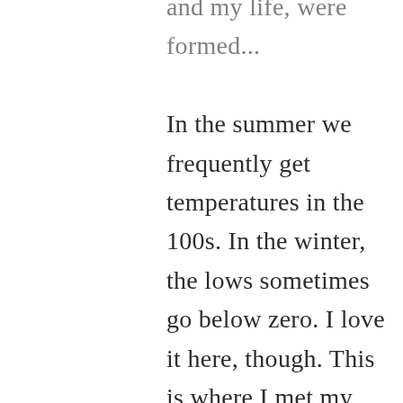and my life, were formed... In the summer we frequently get temperatures in the 100s. In the winter, the lows sometimes go below zero. I love it here, though. This is where I met my best friend hubby, sixteen years ago this month. Some awesome people live in New Mexico.